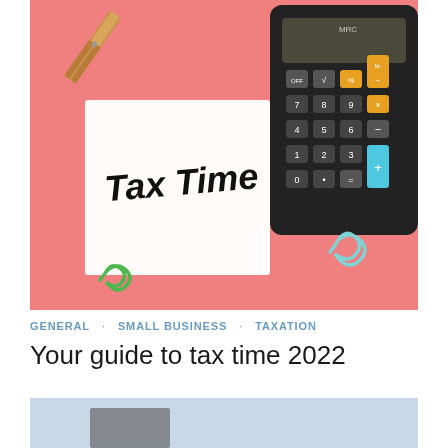[Figure (photo): Photo of a pink background with a calculator, a wooden clothespin, paper clips, and a white sticky note that reads 'Tax Time' in handwritten text.]
GENERAL   SMALL BUSINESS   TAXATION
Your guide to tax time 2022
[Figure (photo): Bottom portion of a second photo, partially visible, showing a light blue background with what appears to be documents or a laptop.]